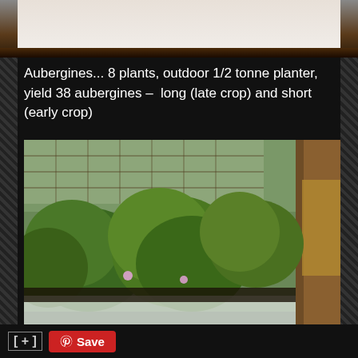[Figure (photo): Top portion of a previous photo showing a wooden shelf or surface, partially visible at the top of the page]
Aubergines... 8 plants, outdoor 1/2 tonne planter, yield 38 aubergines – long (late crop) and short (early crop)
[Figure (photo): Photograph of aubergine (eggplant) plants with large green leaves growing in an outdoor half-tonne planter bag inside what appears to be a polytunnel or greenhouse structure with wire fencing and wooden posts visible in the background. White plastic of the planter bag is visible at the bottom.]
[ + ]  Save